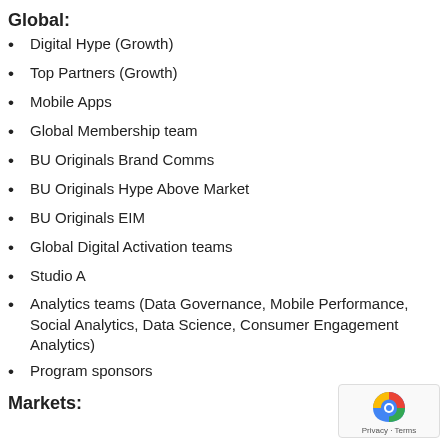Global:
Digital Hype (Growth)
Top Partners (Growth)
Mobile Apps
Global Membership team
BU Originals Brand Comms
BU Originals Hype Above Market
BU Originals EIM
Global Digital Activation teams
Studio A
Analytics teams (Data Governance, Mobile Performance, Social Analytics, Data Science, Consumer Engagement Analytics)
Program sponsors
Markets: